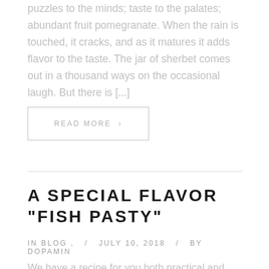puzzles to the minds; taste to the palates; abundant fruit pomegranate. When the rain is touched, it cracks, and as it matures it adds flavor to the taste. The jar of sherbet comes out in a thousand ways on the occasional laugh. But there is [...]
READ MORE >
A SPECIAL FLAVOR “FISH PASTY”
IN BLOG ,   /   JULY 10, 2018   /   BY DOPAMIN
We have a recipe for you both practical and delicious